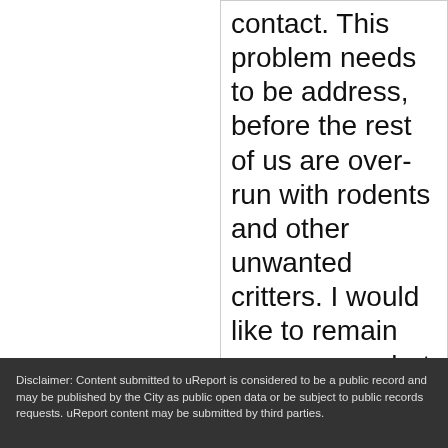contact. This problem needs to be address, before the rest of us are over-run with rodents and other unwanted critters. I would like to remain anonymous, but if not so be it! Thank you.
Disclaimer: Content submitted to uReport is considered to be a public record and may be published by the City as public open data or be subject to public records requests. uReport content may be submitted by third parties.